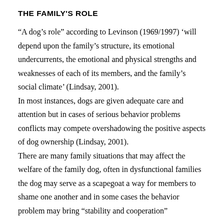THE FAMILY'S ROLE
“A dog’s role” according to Levinson (1969/1997) ‘will depend upon the family’s structure, its emotional undercurrents, the emotional and physical strengths and weaknesses of each of its members, and the family’s social climate’ (Lindsay, 2001).
In most instances, dogs are given adequate care and attention but in cases of serious behavior problems conflicts may compete overshadowing the positive aspects of dog ownership (Lindsay, 2001).
There are many family situations that may affect the welfare of the family dog, often in dysfunctional families the dog may serve as a scapegoat a way for members to shame one another and in some cases the behavior problem may bring “stability and cooperation”